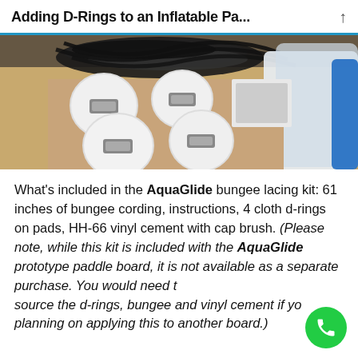Adding D-Rings to an Inflatable Pa...
[Figure (photo): Photo showing AquaGlide bungee lacing kit components: circular white cloth d-ring pads with metal d-rings, black bungee cording coiled on a cardboard surface, with an inflatable paddle board visible in background.]
What's included in the AquaGlide bungee lacing kit: 61 inches of bungee cording, instructions, 4 cloth d-rings on pads, HH-66 vinyl cement with cap brush. (Please note, while this kit is included with the AquaGlide prototype paddle board, it is not available as a separate purchase. You would need to source the d-rings, bungee and vinyl cement if you planning on applying this to another board.)